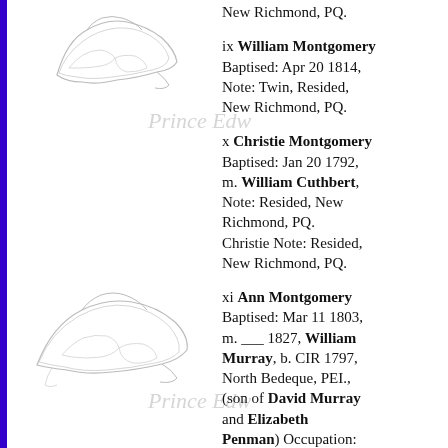[Figure (illustration): Outline map of Prince Edward Island, top]
[Figure (other): Watermark text: Prince Edw]
New Richmond, PQ.
ix William Montgomery Baptised: Apr 20 1814, Note: Twin, Resided, New Richmond, PQ.
[Figure (illustration): Outline map of Prince Edward Island, bottom]
[Figure (other): Watermark text: Prince Edw]
x Christie Montgomery Baptised: Jan 20 1792, m. William Cuthbert, Note: Resided, New Richmond, PQ. Christie Note: Resided, New Richmond, PQ.
xi Ann Montgomery Baptised: Mar 11 1803, m. ___ 1827, William Murray, b. CIR 1797, North Bedeque, PEI., (son of David Murray and Elizabeth Penman) Occupation: